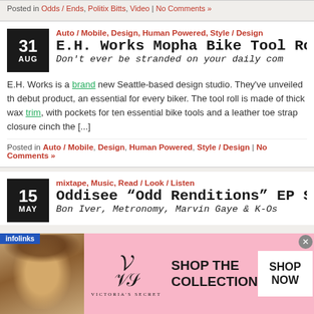Posted in Odds / Ends, Politix Bitts, Video | No Comments »
Auto / Mobile, Design, Human Powered, Style / Design
E.H. Works Mopha Bike Tool Rol
Don't ever be stranded on your daily com
E.H. Works is a brand new Seattle-based design studio. They've unveiled th debut product, an essential for every biker. The tool roll is made of thick wax trim, with pockets for ten essential bike tools and a leather toe strap closure cinch the [...]
Posted in Auto / Mobile, Design, Human Powered, Style / Design | No Comments »
mixtape, Music, Read / Look / Listen
Oddisee "Odd Renditions" EP St
Bon Iver, Metronomy, Marvin Gaye & K-Os
[Figure (infographic): Victoria's Secret advertisement banner with pink background, model photo, VS logo, 'SHOP THE COLLECTION' text, and 'SHOP NOW' button. Infolinks badge overlay.]